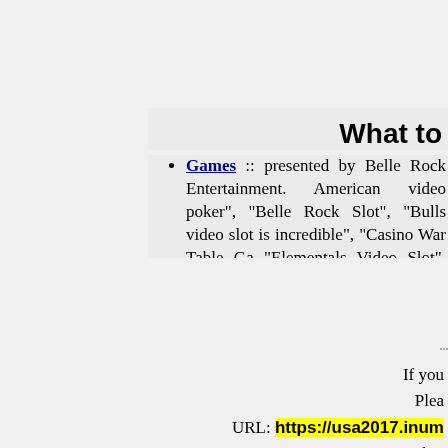What to
Games :: presented by Belle Rock Entertainment. American video poker", "Belle Rock Slot", "Bulls video slot is incredible", "Casino War Table Ga "Elementals Video Slot", "Frost bite slot", etc!
Belle Rock Gaming :: registered in Gibraltar, Br foreign policy to which it reverts to the British Cro
USA2017.INUMO.RU :: main page. Somebody for everyone in USA and everywhere on the Earth
Email to president of USA in 2017 :: send you USA in 2017. Let's all together make our world of
Toggle numbers on left and right :: Click here if your screen.
If you Plea
URL: https://usa2017.inum
Bookm